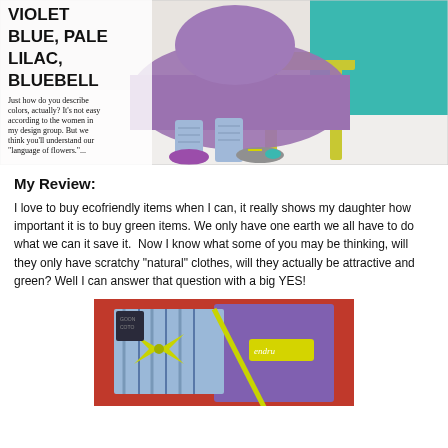[Figure (photo): Fashion catalog photo showing a person wearing purple/lavender clothing and colorful shoes, sitting near a yellow-green chair against a teal background. Text overlay on the left reads 'VIOLET BLUE, PALE LILAC, BLUEBELL' and a descriptive paragraph about describing colors using a language of flowers.]
My Review:
I love to buy ecofriendly items when I can, it really shows my daughter how important it is to buy green items. We only have one earth we all have to do what we can it save it.  Now I know what some of you may be thinking, will they only have scratchy "natural" clothes, will they actually be attractive and green? Well I can answer that question with a big YES!
[Figure (photo): Photo of colorful clothing items (striped and purple/violet garments) arranged on a red background with yellow-green ribbon ties and a yellow tag with cursive text.]